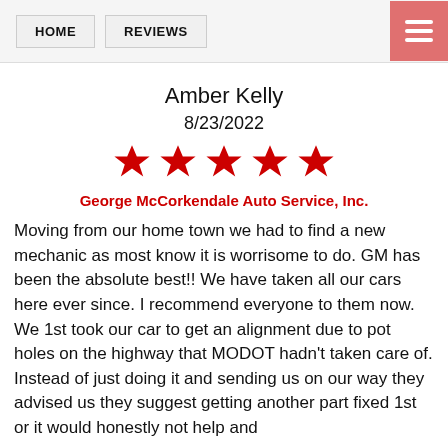HOME  REVIEWS
Amber Kelly
8/23/2022
[Figure (other): 5 red star rating icons]
George McCorkendale Auto Service, Inc.
Moving from our home town we had to find a new mechanic as most know it is worrisome to do. GM has been the absolute best!! We have taken all our cars here ever since. I recommend everyone to them now. We 1st took our car to get an alignment due to pot holes on the highway that MODOT hadn't taken care of. Instead of just doing it and sending us on our way they advised us they suggest getting another part fixed 1st or it would honestly not help and